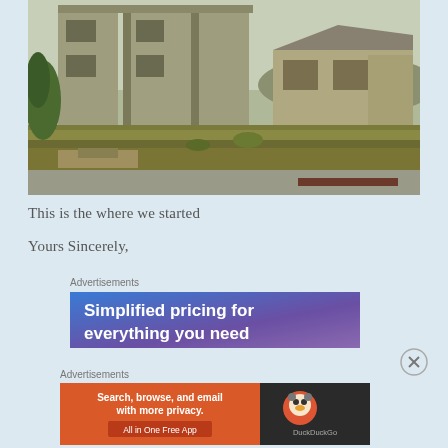[Figure (photo): Photograph of an unfinished or abandoned building construction site with concrete block walls, missing windows, and overgrown grass/weeds in the foreground. A second lower building is visible to the right.]
This is the where we started
Yours Sincerely,
Advertisements
[Figure (other): Advertisement banner with blue-purple gradient background reading 'Simplified pricing for everything you need']
Advertisements
[Figure (other): DuckDuckGo advertisement banner: orange left panel reading 'Search, browse, and email with more privacy. All in One Free App', right dark panel with DuckDuckGo logo and name.]